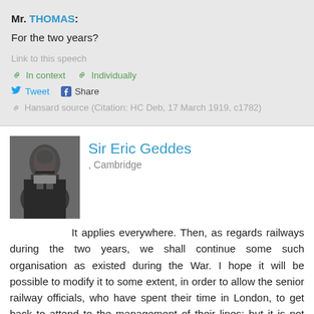Mr. THOMAS:
For the two years?
Link to this speech
In context   Individually
Tweet   Share
Hansard source (Citation: HC Deb, 17 March 1919, c1782)
Sir Eric Geddes
, Cambridge
It applies everywhere. Then, as regards railways during the two years, we shall continue some such organisation as existed during the War. I hope it will be possible to modify it to some extent, in order to allow the senior railway officials, who have spent their time in London, to get back to attend to the management of their lines; but it is not proposed to alter that at the present time. It is, of course, early days to say how you will organise the railways in the future until you decide the